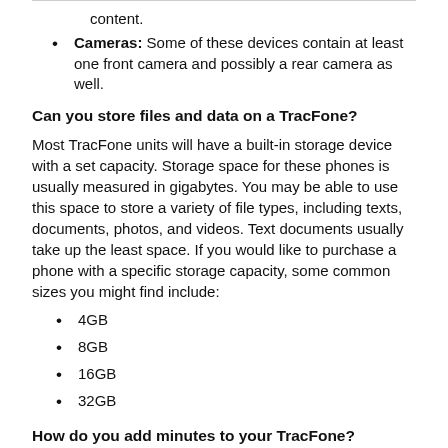content.
Cameras: Some of these devices contain at least one front camera and possibly a rear camera as well.
Can you store files and data on a TracFone?
Most TracFone units will have a built-in storage device with a set capacity. Storage space for these phones is usually measured in gigabytes. You may be able to use this space to store a variety of file types, including texts, documents, photos, and videos. Text documents usually take up the least space. If you would like to purchase a phone with a specific storage capacity, some common sizes you might find include:
4GB
8GB
16GB
32GB
How do you add minutes to your TracFone?
The precise method for adding minutes to your phone may